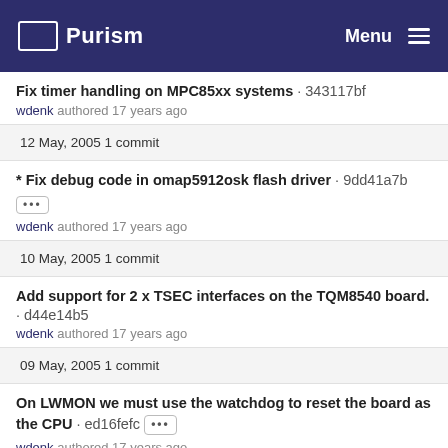Purism | Menu
Fix timer handling on MPC85xx systems · 343117bf
wdenk authored 17 years ago
12 May, 2005 1 commit
* Fix debug code in omap5912osk flash driver · 9dd41a7b
wdenk authored 17 years ago
10 May, 2005 1 commit
Add support for 2 x TSEC interfaces on the TQM8540 board. · d44e14b5
wdenk authored 17 years ago
09 May, 2005 1 commit
On LWMON we must use the watchdog to reset the board as the CPU · ed16fefc
wdenk authored 17 years ago